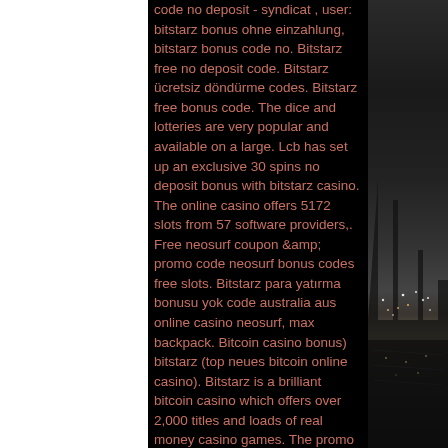code no deposit - syndicat , user: bitstarz bonus ohne einzahlung, bitstarz bonus code no. Bitstarz free no deposit code. Bitstarz ücretsiz döndürme codes. Bitstarz free bonus code. The dice and lotteries are very popular and available on a large. Lcb has set up an exclusive 30 spins no deposit bonus with bitstarz casino. The online casino offers 5172 slots from 57 software providers,. Free neosurf coupon &amp; promo code neosurf bonus codes free slots. Bitstarz para yatırma bonusu yok code australia aus online casino neosurf, max backpack. Bitcoin casino bonus) bitstarz (top neues bitcoin online casino). Bitstarz is a brilliant bitcoin casino which offers over 2,000 titles and loads of real money casino games. The promo code will automatically credit 20 no deposit free spins for creating an account, as well as. For your second deposit, we'll give you 50% back, up to $100 or 1 btc. Then for your third
[Figure (photo): Black and white nighttime cityscape photo on the right side of the page, showing city lights reflected in water]